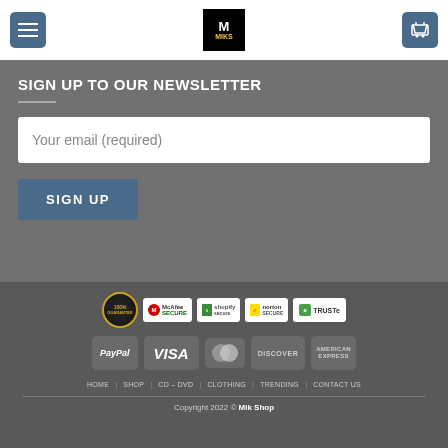[Figure (screenshot): Website header with hamburger menu button on left, Mik Shop logo in center, cart icon on right]
SIGN UP TO OUR NEWSLETTER
Your email (required)
SIGN UP
[Figure (infographic): Trust badges row: 100% Guarantee badge, McAfee Secure, Shopify Secure, Norton Secure, TRUSTe logos]
[Figure (infographic): Payment method badges: PayPal, VISA, MasterCard, Discover, American Express]
HOME  SHOP  CD – DVD  CLOTHING  TRENDING  CONTACT US
Copyright 2022 © Mik Shop